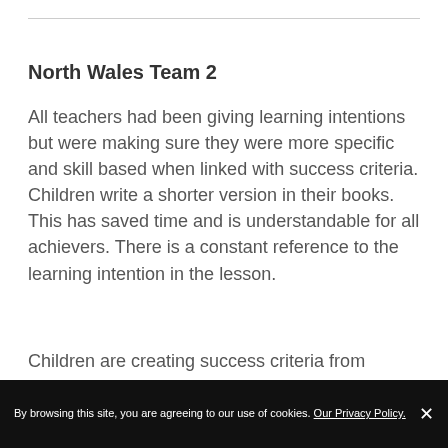North Wales Team 2
All teachers had been giving learning intentions but were making sure they were more specific and skill based when linked with success criteria. Children write a shorter version in their books. This has saved time and is understandable for all achievers. There is a constant reference to the learning intention in the lesson.
Children are creating success criteria from models given and good and bad examples
By browsing this site, you are agreeing to our use of cookies. Our Privacy Policy.